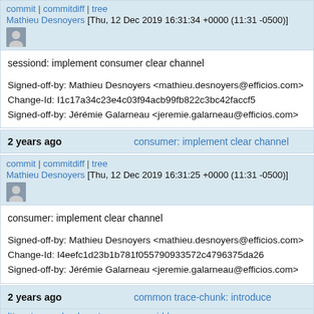commit | commitdiff | tree
Mathieu Desnoyers [Thu, 12 Dec 2019 16:31:34 +0000 (11:31 -0500)]
sessiond: implement consumer clear channel

Signed-off-by: Mathieu Desnoyers <mathieu.desnoyers@efficios.com>
Change-Id: I1c17a34c23e4c03f94acb99fb822c3bc42faccf5
Signed-off-by: Jérémie Galarneau <jeremie.galarneau@efficios.com>
2 years ago    consumer: implement clear channel
commit | commitdiff | tree
Mathieu Desnoyers [Thu, 12 Dec 2019 16:31:25 +0000 (11:31 -0500)]
consumer: implement clear channel

Signed-off-by: Mathieu Desnoyers <mathieu.desnoyers@efficios.com>
Change-Id: I4eefc1d23b1b781f055790933572c4796375da26
Signed-off-by: Jérémie Galarneau <jeremie.galarneau@efficios.com>
2 years ago    common trace-chunk: introduce
lttng_trace_chunk_get_name_overridden